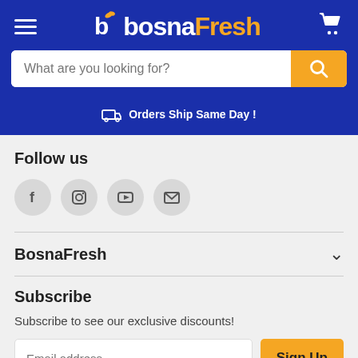[Figure (logo): BosnaFresh logo with hamburger menu and cart icon on dark blue navigation bar]
What are you looking for?
Orders Ship Same Day !
Follow us
[Figure (infographic): Social media icons: Facebook, Instagram, YouTube, Email]
BosnaFresh
Subscribe
Subscribe to see our exclusive discounts!
Email address
Sign Up